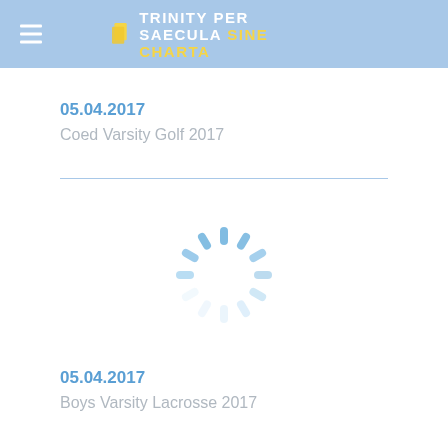TRINITY PER SAECULA SINE CHARTA
05.04.2017
Coed Varsity Golf 2017
[Figure (other): Loading spinner animation (circular dashed arc in light blue)]
05.04.2017
Boys Varsity Lacrosse 2017